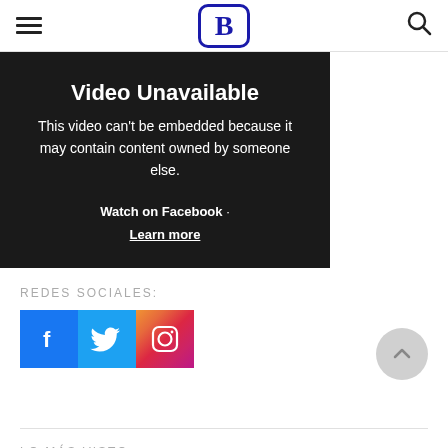≡ [B logo] 🔍
[Figure (screenshot): Video Unavailable embed placeholder with dark background. Text reads: 'Video Unavailable — This video can't be embedded because it may contain content owned by someone else. Watch on Facebook · Learn more']
REDES SOCIALES:
[Figure (infographic): Social media icon buttons: Facebook (blue square with f), Twitter (blue square with bird), Instagram (pink/red square with camera outline)]
LO MÁS VISTO